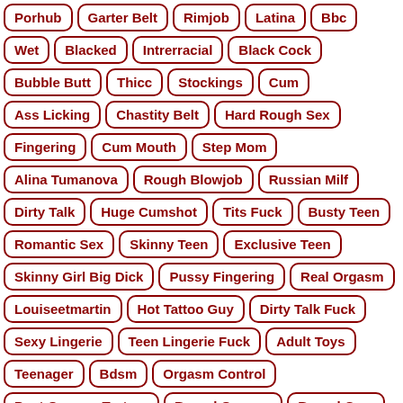Porhub
Garter Belt
Rimjob
Latina
Bbc
Wet
Blacked
Intrerracial
Black Cock
Bubble Butt
Thicc
Stockings
Cum
Ass Licking
Chastity Belt
Hard Rough Sex
Fingering
Cum Mouth
Step Mom
Alina Tumanova
Rough Blowjob
Russian Milf
Dirty Talk
Huge Cumshot
Tits Fuck
Busty Teen
Romantic Sex
Skinny Teen
Exclusive Teen
Skinny Girl Big Dick
Pussy Fingering
Real Orgasm
Louiseetmartin
Hot Tattoo Guy
Dirty Talk Fuck
Sexy Lingerie
Teen Lingerie Fuck
Adult Toys
Teenager
Bdsm
Orgasm Control
Post Orgasm Torture
Bound Orgasm
Bound Cum
Belt Bondage
Magic Wand Orgasm
Cute Girl
Loud Moaning Orgasm
Trembling
Clit Torture Bondage
Bound And Vibrated
Big Boobs
Big Cook
Hot Action